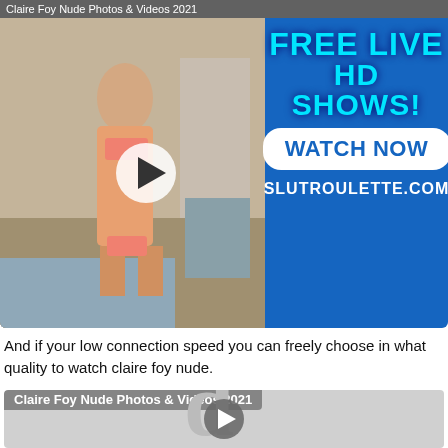Claire Foy Nude Photos & Videos 2021
[Figure (photo): Advertisement banner with photo on left side and blue background on right showing FREE LIVE HD SHOWS! WATCH NOW SLUTROULETTE.COM text]
And if your low connection speed you can freely choose in what quality to watch claire foy nude.
[Figure (screenshot): Video player thumbnail with gray background, large d letter watermark, play button circle, and title bar reading Claire Foy Nude Photos & Videos 2021]